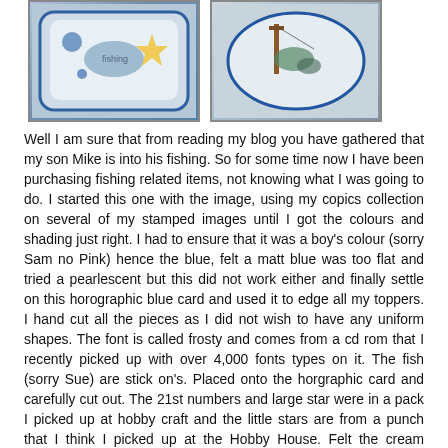[Figure (photo): Two photos side by side: left shows a handmade card with a fishing-themed image with blue border and star embellishments; right shows a handmade tag or topper with a fishing scene edged in holographic blue card.]
Well I am sure that from reading my blog you have gathered that my son Mike is into his fishing. So for some time now I have been purchasing fishing related items, not knowing what I was going to do. I started this one with the image, using my copics collection on several of my stamped images until I got the colours and shading just right. I had to ensure that it was a boy's colour (sorry Sam no Pink) hence the blue, felt a matt blue was too flat and tried a pearlescent but this did not work either and finally settle on this horographic blue card and used it to edge all my toppers. I hand cut all the pieces as I did not wish to have any uniform shapes. The font is called frosty and comes from a cd rom that I recently picked up with over 4,000 fonts types on it. The fish (sorry Sue) are stick on's. Placed onto the horgraphic card and carefully cut out. The 21st numbers and large star were in a pack I picked up at hobby craft and the little stars are from a punch that I think I picked up at the Hobby House. Felt the cream backing card was a little bland but searched for ages for a backing paper which would go and just did not find one